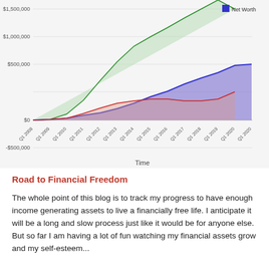[Figure (area-chart): ]
Road to Financial Freedom
The whole point of this blog is to track my progress to have enough income generating assets to live a financially free life. I anticipate it will be a long and slow process just like it would be for anyone else. But so far I am having a lot of fun watching my financial assets grow and my self-esteem...